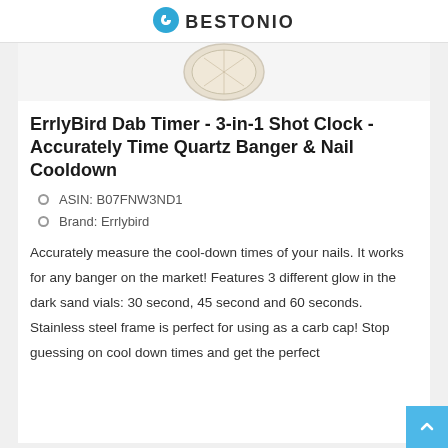BESTONIO
[Figure (photo): Product image of ErrlyBird Dab Timer, showing a circular sand timer device from above]
ErrlyBird Dab Timer - 3-in-1 Shot Clock - Accurately Time Quartz Banger & Nail Cooldown
ASIN: B07FNW3ND1
Brand: Errlybird
Accurately measure the cool-down times of your nails. It works for any banger on the market! Features 3 different glow in the dark sand vials: 30 second, 45 second and 60 seconds. Stainless steel frame is perfect for using as a carb cap! Stop guessing on cool down times and get the perfect